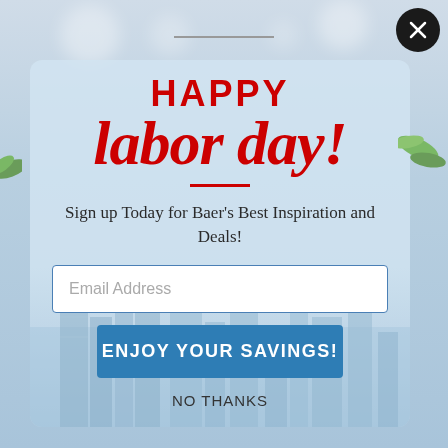[Figure (illustration): Happy Labor Day promotional popup modal with city skyline background, red script text reading 'HAPPY labor day!', email signup form, and 'ENJOY YOUR SAVINGS!' button]
HAPPY labor day!
Sign up Today for Baer's Best Inspiration and Deals!
Email Address
ENJOY YOUR SAVINGS!
NO THANKS